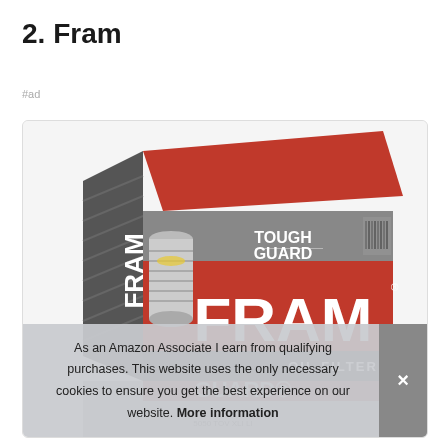2. Fram
#ad
[Figure (photo): FRAM Tough Guard oil filter product box showing the red and grey FRAM branding with 'TOUGH GUARD' and 'OIL FILTER' text, along with an oil filter canister visible on the left side of the box.]
As an Amazon Associate I earn from qualifying purchases. This website uses the only necessary cookies to ensure you get the best experience on our website. More information